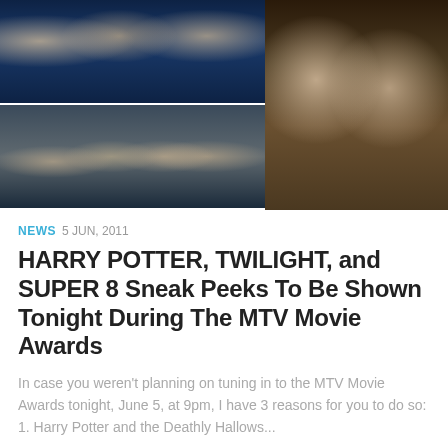[Figure (photo): Collage of two movie images: left side shows two Harry Potter stills (top: close-up of Harry, Hermione, Ron; bottom: group of teens in action scene), right side shows a Twilight still with Edward and Bella in close embrace]
NEWS 5 JUN, 2011
HARRY POTTER, TWILIGHT, and SUPER 8 Sneak Peeks To Be Shown Tonight During The MTV Movie Awards
In case you weren't planning on tuning in to the MTV Movie Awards tonight, June 5, at 9pm, I have 3 reasons for you to do so: 1. Harry Potter and the Deathly Hallows...